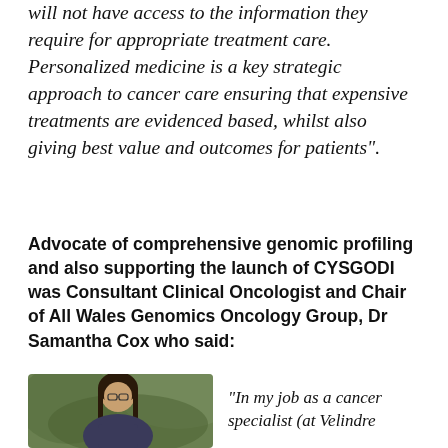will not have access to the information they require for appropriate treatment care. Personalized medicine is a key strategic approach to cancer care ensuring that expensive treatments are evidenced based, whilst also giving best value and outcomes for patients".
Advocate of comprehensive genomic profiling and also supporting the launch of CYSGODI was Consultant Clinical Oncologist and Chair of All Wales Genomics Oncology Group, Dr Samantha Cox who said:
[Figure (photo): Photograph of Dr Samantha Cox, a woman with dark shoulder-length hair, wearing glasses, partially visible]
"In my job as a cancer specialist (at Velindre